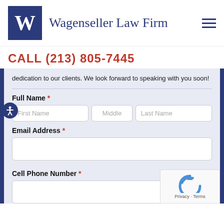[Figure (logo): Wagenseller Law Firm logo: a blue square with a white letter W]
Wagenseller Law Firm
CALL (213) 805-7445
dedication to our clients. We look forward to speaking with you soon!
Full Name *
Email Address *
Cell Phone Number *